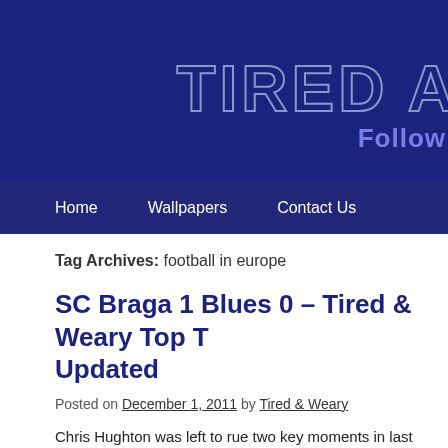[Figure (screenshot): Website header banner with dark navy background showing partial site title 'TIRED A...' in outlined letters and 'Follow...' subtitle in purple]
Home   Wallpapers   Contact Us
Tag Archives: football in europe
SC Braga 1 Blues 0 – Tired & Weary Top T... Updated
Posted on December 1, 2011 by Tired & Weary
Chris Hughton was left to rue two key moments in last night's Group H, Europ... out 1-0 winners and book themselves a place in the last 32 of the competition
More…